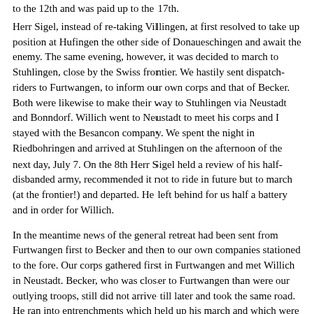to the 12th and was paid up to the 17th.
Herr Sigel, instead of re-taking Villingen, at first resolved to take up position at Hufingen the other side of Donaueschingen and await the enemy. The same evening, however, it was decided to march to Stuhlingen, close by the Swiss frontier. We hastily sent dispatch-riders to Furtwangen, to inform our own corps and that of Becker. Both were likewise to make their way to Stuhlingen via Neustadt and Bonndorf. Willich went to Neustadt to meet his corps and I stayed with the Besancon company. We spent the night in Riedbohringen and arrived at Stuhlingen on the afternoon of the next day, July 7. On the 8th Herr Sigel held a review of his half-disbanded army, recommended it not to ride in future but to march (at the frontier!) and departed. He left behind for us half a battery and in order for Willich.
In the meantime news of the general retreat had been sent from Furtwangen first to Becker and then to our own companies stationed to the fore. Our corps gathered first in Furtwangen and met Willich in Neustadt. Becker, who was closer to Furtwangen than were our outlying troops, still did not arrive till later and took the same road. He ran into entrenchments which held up his march and which were later said in the Swiss press to have been dug by our corps. That is incorrect; our corps only blocked the roads on the other side of the Black Forest ridge, and not on the way from Triberg to Furtwangen, which it never occupied. Besides, our